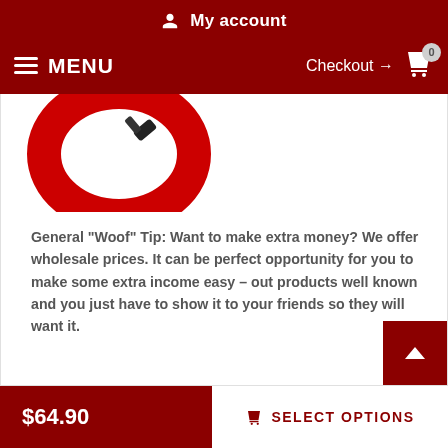My account
MENU   Checkout → 0
[Figure (photo): Partial image of a red dog collar/ring product on white background]
General "Woof" Tip: Want to make extra money? We offer wholesale prices. It can be perfect opportunity for you to make some extra income easy – out products well known and you just have to show it to your friends so they will want it.
$64.90
SELECT OPTIONS